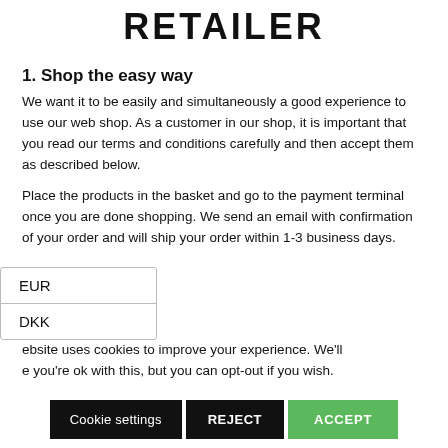RETAILER
1. Shop the easy way
We want it to be easily and simultaneously a good experience to use our web shop. As a customer in our shop, it is important that you read our terms and conditions carefully and then accept them as described below.
Place the products in the basket and go to the payment terminal once you are done shopping. We send an email with confirmation of your order and will ship your order within 1-3 business days.
EUR
DKK
ebsite uses cookies to improve your experience. We'll e you're ok with this, but you can opt-out if you wish.
Cookie settings    REJECT    ACCEPT